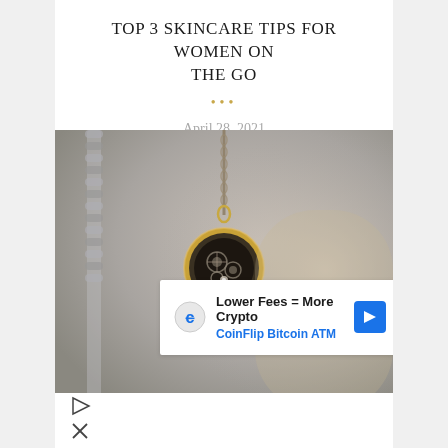TOP 3 SKINCARE TIPS FOR WOMEN ON THE GO
April 28, 2021
[Figure (photo): Close-up photo of a round gold mechanical watch pendant hanging on a chain, with visible gear mechanism inside, on a blurred grey background]
Lower Fees = More Crypto CoinFlip Bitcoin ATM